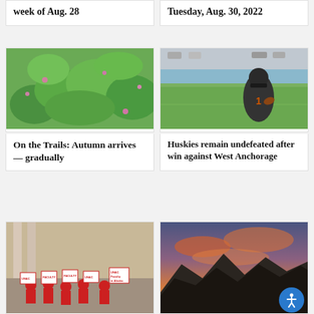week of Aug. 28
Tuesday, Aug. 30, 2022
[Figure (photo): Close-up of green leafy plants with small pink flowers, autumn foliage]
On the Trails: Autumn arrives — gradually
[Figure (photo): Football player in black Huskies uniform running with ball on green turf field]
Huskies remain undefeated after win against West Anchorage
[Figure (photo): Group of protesters in red shirts holding signs outside a building, UNAC faculty protest]
[Figure (photo): Mountain sunset with orange and pink clouds over dark silhouetted peaks]